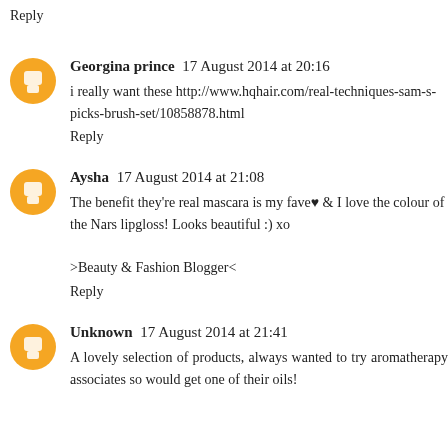Reply
Georgina prince  17 August 2014 at 20:16
i really want these http://www.hqhair.com/real-techniques-sam-s-picks-brush-set/10858878.html
Reply
Aysha  17 August 2014 at 21:08
The benefit they're real mascara is my fave♥ & I love the colour of the Nars lipgloss! Looks beautiful :) xo

>Beauty & Fashion Blogger<
Reply
Unknown  17 August 2014 at 21:41
A lovely selection of products, always wanted to try aromatherapy associates so would get one of their oils!